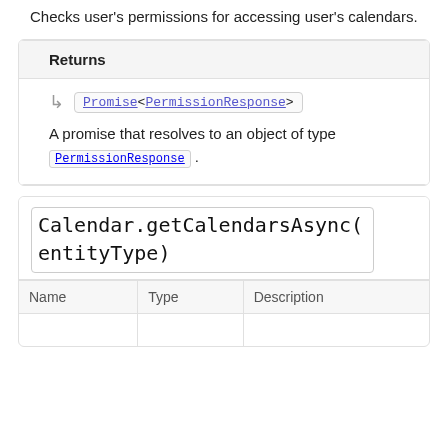Checks user's permissions for accessing user's calendars.
Returns
Promise<PermissionResponse>
A promise that resolves to an object of type PermissionResponse.
Calendar.getCalendarsAsync(entityType)
| Name | Type | Description |
| --- | --- | --- |
|  |